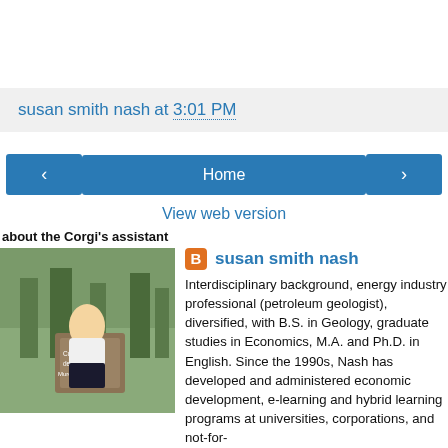susan smith nash at 3:01 PM
[Figure (screenshot): Navigation row with left arrow button, Home button, and right arrow button]
View web version
about the Corgi's assistant
[Figure (photo): Profile photo of susan smith nash outdoors near a wooden sign]
susan smith nash
Interdisciplinary background, energy industry professional (petroleum geologist), diversified, with B.S. in Geology, graduate studies in Economics, M.A. and Ph.D. in English. Since the 1990s, Nash has developed and administered economic development, e-learning and hybrid learning programs at universities, corporations, and not-for-profits. Focused on disciplinary innovations in content and...